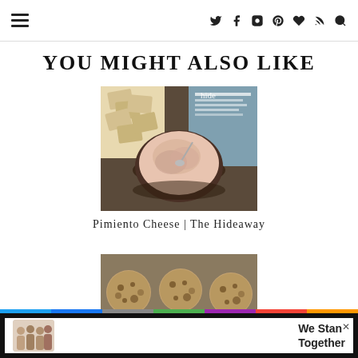Navigation header with hamburger menu and social icons
YOU MIGHT ALSO LIKE
[Figure (photo): A bowl of pimiento cheese dip with crackers and a book in the background]
Pimiento Cheese | The Hideaway
[Figure (photo): Closeup of snack balls or energy bites with toppings]
[Figure (photo): Advertisement banner: We Stand Together with group of people]